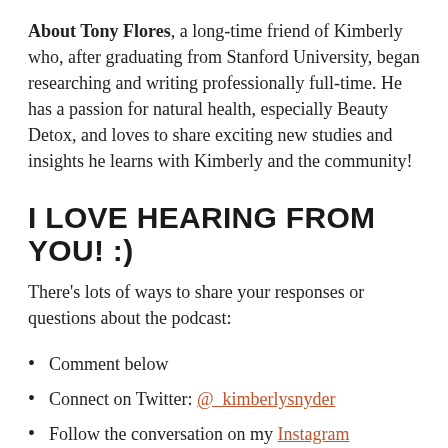About Tony Flores, a long-time friend of Kimberly who, after graduating from Stanford University, began researching and writing professionally full-time. He has a passion for natural health, especially Beauty Detox, and loves to share exciting new studies and insights he learns with Kimberly and the community!
I LOVE HEARING FROM YOU! :)
There's lots of ways to share your responses or questions about the podcast:
Comment below
Connect on Twitter: @_kimberlysnyder
Follow the conversation on my Instagram